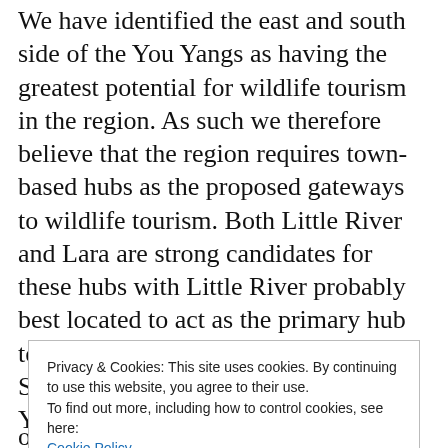We have identified the east and south side of the You Yangs as having the greatest potential for wildlife tourism in the region. As such we therefore believe that the region requires town-based hubs as the proposed gateways to wildlife tourism. Both Little River and Lara are strong candidates for these hubs with Little River probably best located to act as the primary hub to the You Yangs east face and Lara to Serendip and the south face of the You Yangs.
These two towns are very different and are in
Privacy & Cookies: This site uses cookies. By continuing to use this website, you agree to their use.
To find out more, including how to control cookies, see here:
Cookie Policy
Close and accept
of countries that the creation of protected